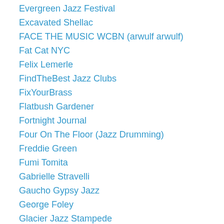Evergreen Jazz Festival
Excavated Shellac
FACE THE MUSIC WCBN (arwulf arwulf)
Fat Cat NYC
Felix Lemerle
FindTheBest Jazz Clubs
FixYourBrass
Flatbush Gardener
Fortnight Journal
Four On The Floor (Jazz Drumming)
Freddie Green
Fumi Tomita
Gabrielle Stravelli
Gaucho Gypsy Jazz
George Foley
Glacier Jazz Stampede
Glenn Crytzer and his Syncopators
Going Thru Vinyl
Good Life Northwest
Gordon Au